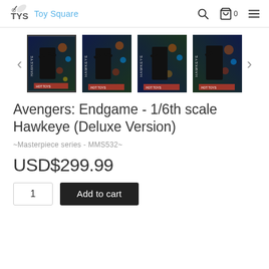[Figure (logo): Toy Square logo with stylized TYS letters and rocket icon, blue and gray colors]
[Figure (photo): Product gallery showing four thumbnail images of Hawkeye action figure from Avengers Endgame in dark urban night setting. First thumbnail is selected (bordered). Navigation arrows on left and right.]
Avengers: Endgame - 1/6th scale Hawkeye (Deluxe Version)
~Masterpiece series - MMS532~
USD$299.99